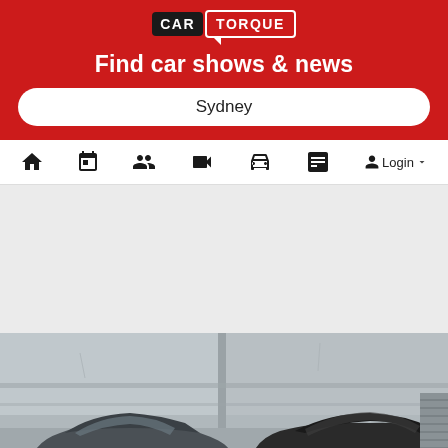[Figure (logo): Car Torque logo with two speech bubble style boxes: 'CAR' in black box and 'TORQUE' in red outlined box]
Find car shows & news
Sydney
[Figure (screenshot): Navigation bar with icons: home, calendar, people/group, video camera, car, showroom/display, and Login button with dropdown arrow]
[Figure (photo): Two dark/black cars parked in an underground concrete parking garage, partially visible at the bottom of the screenshot]